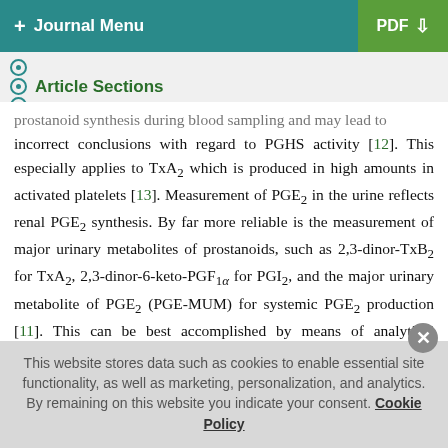+ Journal Menu  PDF ↓
Article Sections
prostanoid synthesis during blood sampling and may lead to incorrect conclusions with regard to PGHS activity [12]. This especially applies to TxA₂ which is produced in high amounts in activated platelets [13]. Measurement of PGE₂ in the urine reflects renal PGE₂ synthesis. By far more reliable is the measurement of major urinary metabolites of prostanoids, such as 2,3-dinor-TxB₂ for TxA₂, 2,3-dinor-6-keto-PGF₁α for PGI₂, and the major urinary metabolite of PGE₂ (PGE-MUM) for systemic PGE₂ production [11]. This can be best accomplished by means of analytical technologies which have high inherent sensitivity and selectivity such as gas chromatography-mass
This website stores data such as cookies to enable essential site functionality, as well as marketing, personalization, and analytics. By remaining on this website you indicate your consent. Cookie Policy